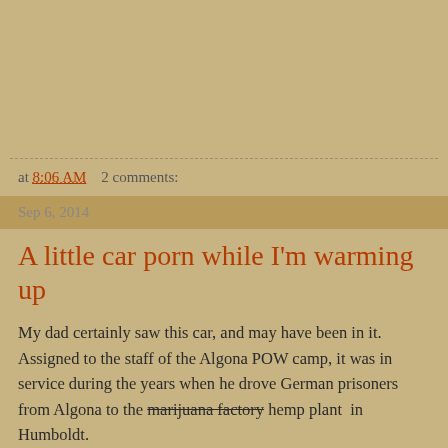at 8:06 AM   2 comments:
Sep 6, 2014
A little car porn while I'm warming up
My dad certainly saw this car, and may have been in it. Assigned to the staff of the Algona POW camp, it was in service during the years when he drove German prisoners from Algona to the marijuana factory hemp plant  in Humboldt.